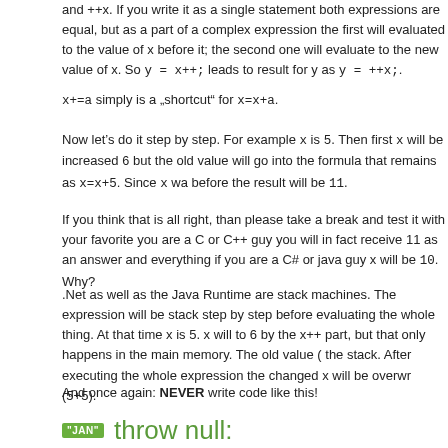and ++x. If you write it as a single statement both expressions are equal, but as a part of a complex expression the first will evaluated to the value of x before it; the second one will evaluate to the new value of x. So y = x++; leads to result for y as y = ++x;.
x+=a simply is a “shortcut” for x=x+a.
Now let’s do it step by step. For example x is 5. Then first x will be increased 6 but the old value will go into the formula that remains as x=x+5. Since x wa before the result will be 11.
If you think that is all right, than please take a break and test it with your favorite you are a C or C++ guy you will in fact receive 11 as an answer and everything if you are a C# or java guy x will be 10. Why?
.Net as well as the Java Runtime are stack machines. The expression will be stack step by step before evaluating the whole thing. At that time x is 5. x will to 6 by the x++ part, but that only happens in the main memory. The old value ( the stack. After executing the whole expression the changed x will be overwr (5+5).
And once again: NEVER write code like this!
throw null: